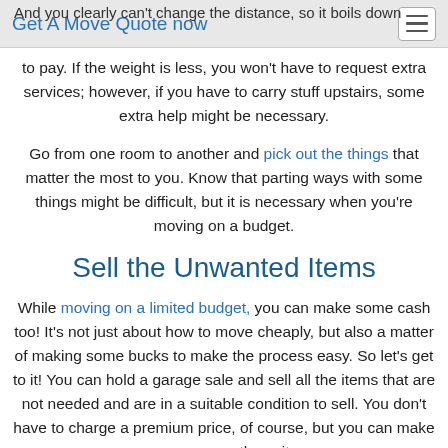And you clearly can't change the distance, so it boils down | Get A Move Quote now
to pay. If the weight is less, you won't have to request extra services; however, if you have to carry stuff upstairs, some extra help might be necessary.
Go from one room to another and pick out the things that matter the most to you. Know that parting ways with some things might be difficult, but it is necessary when you're moving on a budget.
Sell the Unwanted Items
While moving on a limited budget, you can make some cash too! It's not just about how to move cheaply, but also a matter of making some bucks to make the process easy. So let's get to it! You can hold a garage sale and sell all the items that are not needed and are in a suitable condition to sell. You don't have to charge a premium price, of course, but you can make some money on these items.